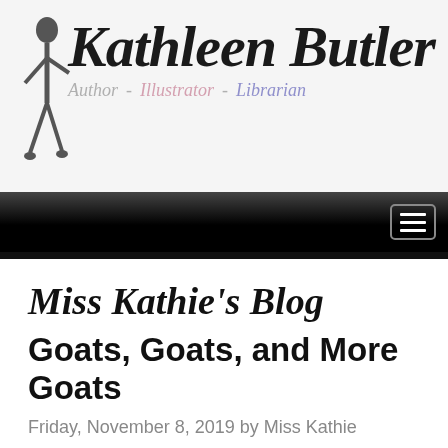[Figure (logo): Kathleen Butler website header logo with decorative script text reading 'Kathleen Butler' and tagline 'Author - Illustrator - Librarian' with a small illustrated figure of a woman on the left]
[Figure (other): Black navigation bar with hamburger menu icon (three horizontal lines in a rounded rectangle) on the right side]
Miss Kathie's Blog
Goats, Goats, and More Goats
Friday, November 8, 2019 by Miss Kathie